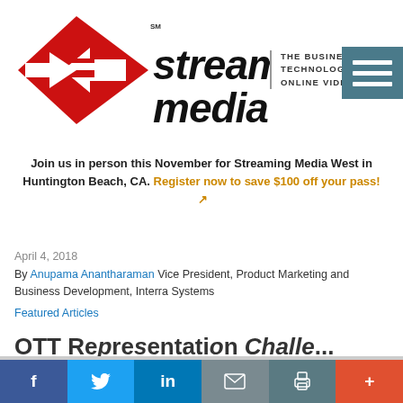[Figure (logo): Streaming Media logo — red diamond shape with white arrows, bold italic 'streaming media' text, tagline 'THE BUSINESS & TECHNOLOGY OF ONLINE VIDEO', teal hamburger menu icon top right]
Join us in person this November for Streaming Media West in Huntington Beach, CA. Register now to save $100 off your pass! ↗
April 4, 2018
By Anupama Anantharaman Vice President, Product Marketing and Business Development, Interra Systems
Featured Articles
OTT Re...  (partial title cut off)
[Figure (infographic): Social sharing bar: Facebook (dark blue), Twitter (light blue), LinkedIn (blue), Email (gray-blue), Print (teal), Plus/More (orange-red)]